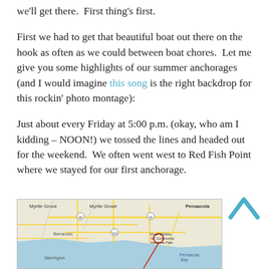we'll get there.  First thing's first.
First we had to get that beautiful boat out there on the hook as often as we could between boat chores.  Let me give you some highlights of our summer anchorages (and I would imagine this song is the right backdrop for this rockin' photo montage):
Just about every Friday at 5:00 p.m. (okay, who am I kidding – NOON!) we tossed the lines and headed out for the weekend.  We often went west to Red Fish Point where we stayed for our first anchorage.
[Figure (map): A Google Maps image showing the Pensacola, Florida area with roads, waterways including Pensacola Bay, and a red circle marker near Vince Whibbs Sr. Community Maritime Park.]